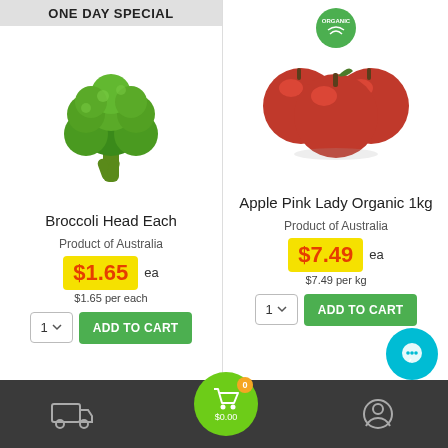ONE DAY SPECIAL
[Figure (photo): Broccoli Head - fresh green broccoli on white background]
Broccoli Head Each
Product of Australia
$1.65 ea
$1.65 per each
[Figure (photo): Apple Pink Lady Organic - red apples pile with organic badge]
Apple Pink Lady Organic 1kg
Product of Australia
$7.49 ea
$7.49 per kg
$0.00